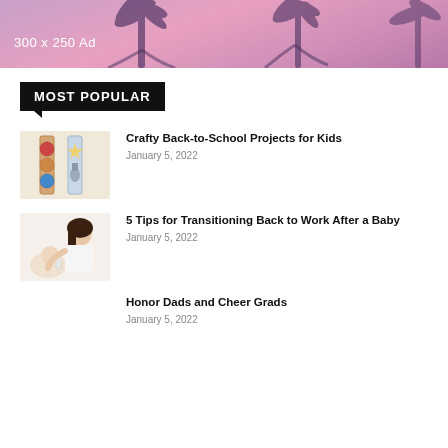[Figure (photo): Banner ad placeholder showing palm trees against a pink/purple sky, with text '300 x 250 Ad']
MOST POPULAR
[Figure (photo): Thumbnail image of craft bookmarks/ornaments for back-to-school]
Crafty Back-to-School Projects for Kids
January 5, 2022
[Figure (photo): Thumbnail image of a woman feeding a baby with a bottle]
5 Tips for Transitioning Back to Work After a Baby
January 5, 2022
Honor Dads and Cheer Grads
January 5, 2022